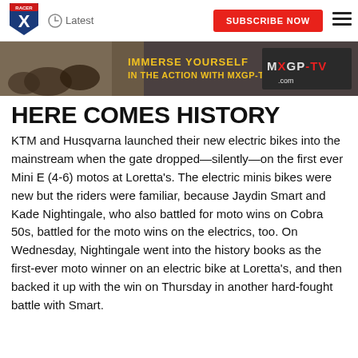[Figure (logo): Racer X logo — blue shield with red banner and X]
Latest  SUBSCRIBE NOW
[Figure (photo): MXGP-TV advertisement banner: motocross riders on dirt, text 'IMMERSE YOURSELF IN THE ACTION WITH MXGP-TV' and MXGP-TV.com logo]
HERE COMES HISTORY
KTM and Husqvarna launched their new electric bikes into the mainstream when the gate dropped—silently—on the first ever Mini E (4-6) motos at Loretta's. The electric minis bikes were new but the riders were familiar, because Jaydin Smart and Kade Nightingale, who also battled for moto wins on Cobra 50s, battled for the moto wins on the electrics, too. On Wednesday, Nightingale went into the history books as the first-ever moto winner on an electric bike at Loretta's, and then backed it up with the win on Thursday in another hard-fought battle with Smart.